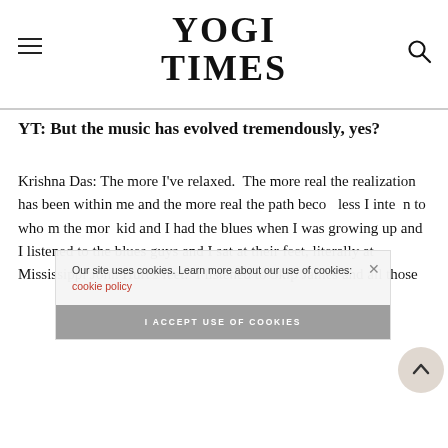YOGI TIMES
YT: But the music has evolved tremendously, yes?
Krishna Das: The more I've relaxed.  The more real the realization has been within me and the more real the path beco[mes...] less I inte[grated...] n to who[le...] m the mor[e...] kid and I had the blues when I was growing up and I listened to the blues guys and I sat at their feet, literally at Mississippi John Hurt's feet.  I listened to Skip James and all those